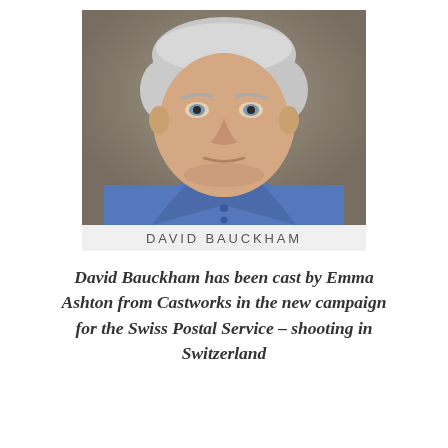[Figure (photo): Headshot portrait of David Bauckham, a middle-aged man with short grey hair wearing a blue shirt, photographed against a blurred grey-brown background.]
DAVID BAUCKHAM
David Bauckham has been cast by Emma Ashton from Castworks in the new campaign for the Swiss Postal Service – shooting in Switzerland